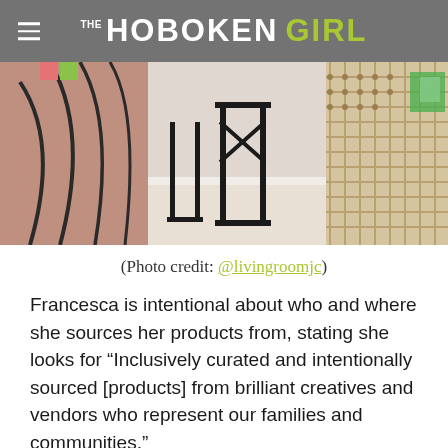THE HOBOKEN GIRL
[Figure (photo): Interior photo of a store showing furniture, chairs, and woven/macrame decorative items]
(Photo credit: @livingroomjc)
Francesca is intentional about who and where she sources her products from, stating she looks for “Inclusively curated and intentionally sourced [products] from brilliant creatives and vendors who represent our families and communities.”
Offering furniture, home decor, candles, self